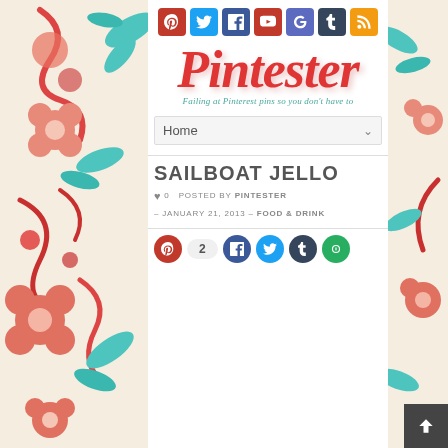[Figure (illustration): Decorative floral pattern with red, teal, and coral flowers and leaves on cream background - left panel]
[Figure (illustration): Decorative floral pattern with red, teal, and coral flowers and leaves on cream background - right panel]
[Figure (logo): Social media icon buttons: Pinterest (red), Twitter (cyan), Facebook (blue), YouTube (red), Google+ (blue-gray), Tumblr (dark blue), RSS (orange)]
[Figure (logo): Pintester logo in red italic script with tagline 'Failing at Pinterest pins so you don't have to' in teal italic]
Home
SAILBOAT JELLO
0   POSTED BY PINTESTER – JANUARY 21, 2013 – FOOD & DRINK
[Figure (logo): Share buttons row: Pinterest circle with count 2, Facebook circle, Twitter circle, Tumblr circle, green circle]